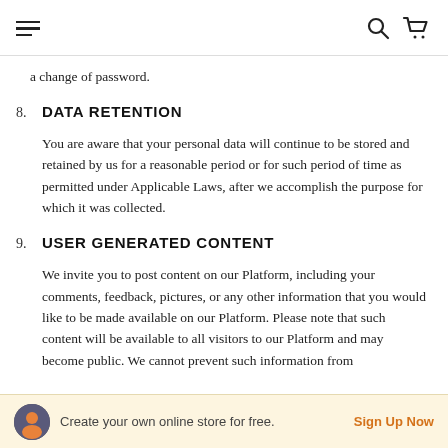[Navigation bar with hamburger menu, search icon, and cart icon]
a change of password.
8. DATA RETENTION
You are aware that your personal data will continue to be stored and retained by us for a reasonable period or for such period of time as permitted under Applicable Laws, after we accomplish the purpose for which it was collected.
9. USER GENERATED CONTENT
We invite you to post content on our Platform, including your comments, feedback, pictures, or any other information that you would like to be made available on our Platform. Please note that such content will be available to all visitors to our Platform and may become public. We cannot prevent such information from
Create your own online store for free. Sign Up Now